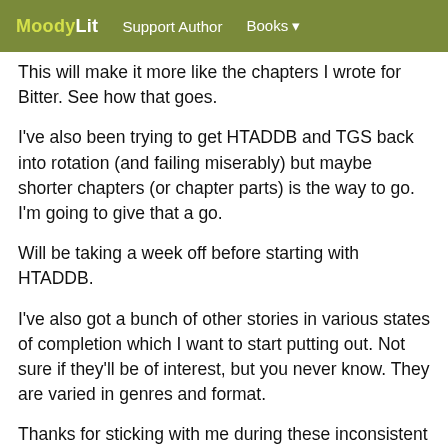MoodyLit  Support Author  Books
This will make it more like the chapters I wrote for Bitter. See how that goes.
I've also been trying to get HTADDB and TGS back into rotation (and failing miserably) but maybe shorter chapters (or chapter parts) is the way to go. I'm going to give that a go.
Will be taking a week off before starting with HTADDB.
I've also got a bunch of other stories in various states of completion which I want to start putting out. Not sure if they'll be of interest, but you never know. They are varied in genres and format.
Thanks for sticking with me during these inconsistent times. I hope to pay back some of that faith with actual stories pumped out like the old days. Is it possible? We shall see in a week.